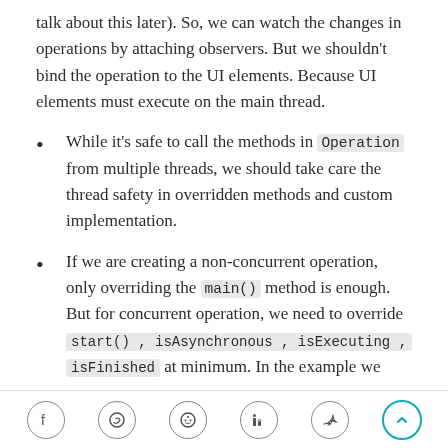talk about this later). So, we can watch the changes in operations by attaching observers. But we shouldn't bind the operation to the UI elements. Because UI elements must execute on the main thread.
While it's safe to call the methods in Operation from multiple threads, we should take care the thread safety in overridden methods and custom implementation.
If we are creating a non-concurrent operation, only overriding the main() method is enough. But for concurrent operation, we need to override start(), isAsynchronous, isExecuting, isFinished at minimum. In the example we
[social share icons: Facebook, WhatsApp, Reddit, LinkedIn, Twitter, scroll-to-top]